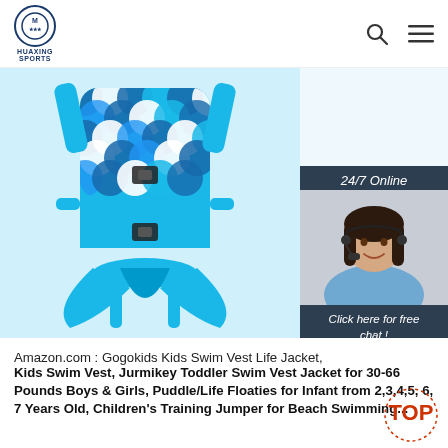HUAXING SPORTS
[Figure (photo): Back view of a blue mermaid-style kids swim vest life jacket with scales pattern, blue fins/tail, and straps with buckles, shown against white background. Overlay: 24/7 Online support chat widget with photo of female customer service agent with headset, 'Click here for free chat!' text, and orange QUOTATION button.]
Amazon.com : Gogokids Kids Swim Vest Life Jacket,
Kids Swim Vest, Jurmikey Toddler Swim Vest Jacket for 30-66 Pounds Boys & Girls, Puddle/Life Floaties for Infant from 2,3,4,5, 6, 7 Years Old, Children's Training Jumper for Beach Swimming...